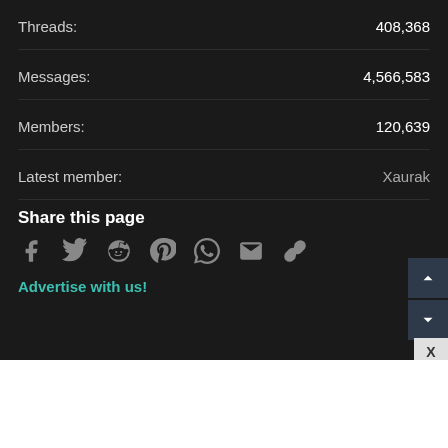Threads: 408,368
Messages: 4,566,583
Members: 120,639
Latest member: Xaurak
Share this page
[Figure (infographic): Social share icons: Facebook, Twitter, Reddit, Pinterest, WhatsApp, Email, Link]
Advertise with us!